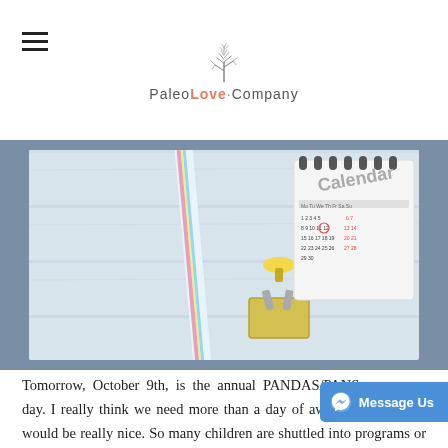PaleoLove Company
[Figure (photo): Overhead photo of a calendar, decorative pencil, push pins, and a binder clip on a light wood surface, set against a steel-blue background.]
Tomorrow, October 9th, is the annual PANDAS/PANS awareness day. I really think we need more than a day of awareness, a month would be really nice. So many children are shuttled into programs or medications that do not get at the root cause of why they are having symptoms of anxiety, restrictive eating, anger and more. Young children, 1st grade get